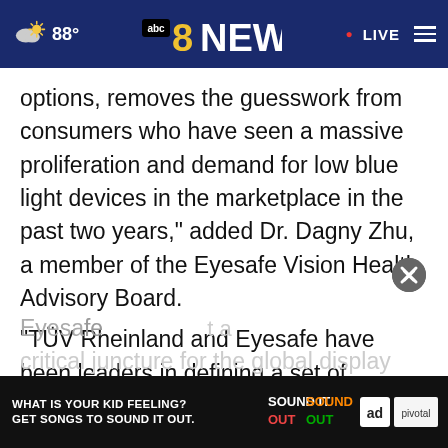88° | abc 8 NEWS | LIVE
options, removes the guesswork from consumers who have seen a massive proliferation and demand for low blue light devices in the marketplace in the past two years," added Dr. Dagny Zhu, a member of the Eyesafe Vision Health Advisory Board.
"TÜV Rheinland and Eyesafe have been leaders in defining a set of requirements for blue light management. The announcement of t[he]
Eyesa[fe ...] a critical juncture for the global display industry,"